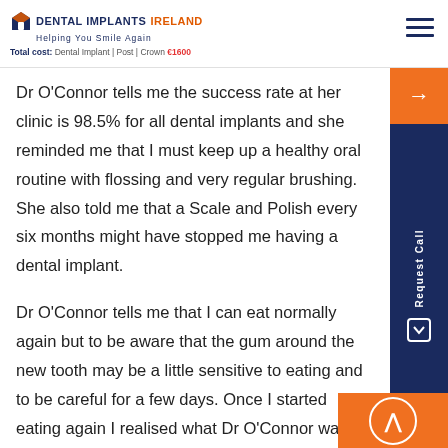DENTAL IMPLANTS IRELAND | Helping You Smile Again | Total cost: Dental Implant | Post | Crown €1600
Dr O'Connor tells me the success rate at her clinic is 98.5% for all dental implants and she reminded me that I must keep up a healthy oral routine with flossing and very regular brushing. She also told me that a Scale and Polish every six months might have stopped me having a dental implant.
Dr O'Connor tells me that I can eat normally again but to be aware that the gum around the new tooth may be a little sensitive to eating and to be careful for a few days. Once I started eating again I realised what Dr O'Connor was talking about, when the tooth was rotten I ate food in different parts of my...